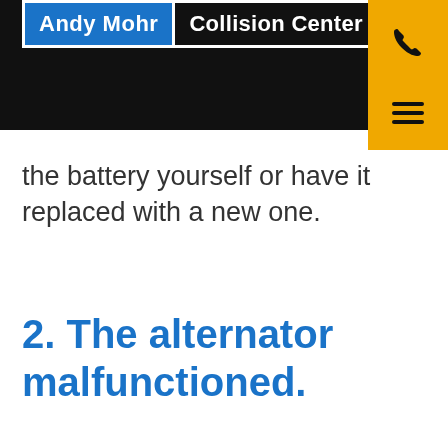Andy Mohr Collision Center
the battery yourself or have it replaced with a new one.
2. The alternator malfunctioned.